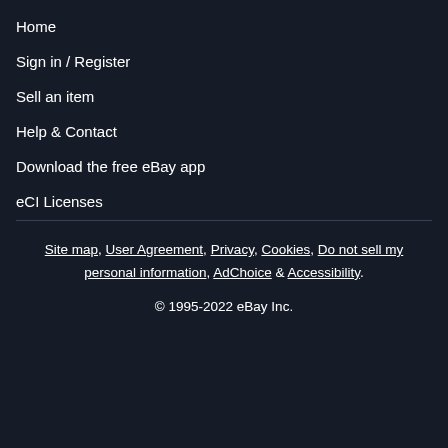Home
Sign in / Register
Sell an item
Help & Contact
Download the free eBay app
eCI Licenses
Site map, User Agreement, Privacy, Cookies, Do not sell my personal information, AdChoice & Accessibility. © 1995-2022 eBay Inc.